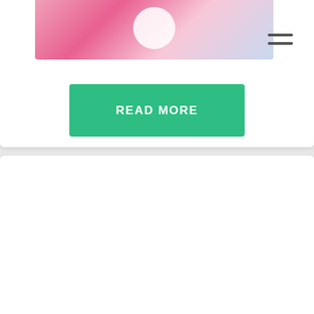[Figure (photo): Top portion of a food blog page showing a pink/decorative photo strip with a white circular element, and a hamburger menu icon in the top right corner]
READ MORE
Ray's Meatball Recipe
We were always on the hunt for the perfect meatball – one that was tender and tasty, moist and meaty. Michael Chernow runs the front-of-house operations and the beverage program at The Meatball Shop. I've already told several friends about my new meatball recipe and they can't wait to try it. This recipe makes a